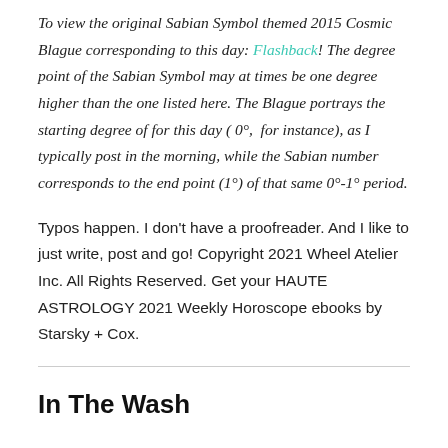To view the original Sabian Symbol themed 2015 Cosmic Blague corresponding to this day: Flashback! The degree point of the Sabian Symbol may at times be one degree higher than the one listed here. The Blague portrays the starting degree of for this day ( 0°,  for instance), as I typically post in the morning, while the Sabian number corresponds to the end point (1°) of that same 0°-1° period.
Typos happen. I don't have a proofreader. And I like to just write, post and go! Copyright 2021 Wheel Atelier Inc. All Rights Reserved. Get your HAUTE ASTROLOGY 2021 Weekly Horoscope ebooks by Starsky + Cox.
In The Wash